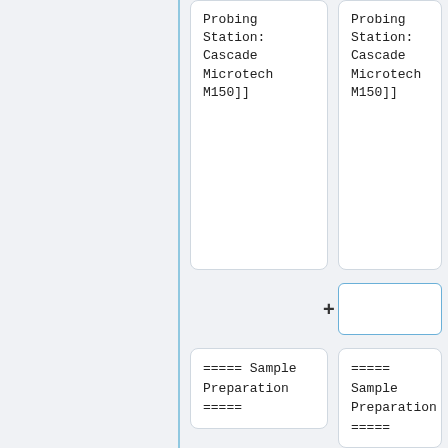Probing Station: Cascade Microtech M150]]
Probing Station: Cascade Microtech M150]]
+
===== Sample Preparation =====
===== Sample Preparation =====
* [[TEM Sample Preparation Equipment | TEM Sample Preparation Equipment: Polishing Stations, 3 mm Dish
* [[TEM Sample Preparation Equipment | TEM Sample Preparation Equipment: Polishing Stations, 3 mm Dish